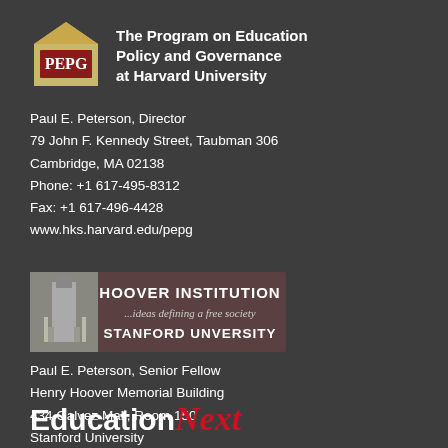[Figure (logo): PEPG house logo with maroon text on tan/gold background]
The Program on Education Policy and Governance at Harvard University
Paul E. Peterson, Director
79 John F. Kennedy Street, Taubman 306
Cambridge, MA 02138
Phone: +1 617-495-8312
Fax: +1 617-496-4428
www.hks.harvard.edu/pepg
[Figure (logo): Hoover Institution logo with Stanford University branding on dark brown background]
Paul E. Peterson, Senior Fellow
Henry Hoover Memorial Building
434 Galvez Mall, Room 150
Stanford University
Stanford CA 94305
[Figure (logo): EducationNext logo in white bold with red italic 'Next']